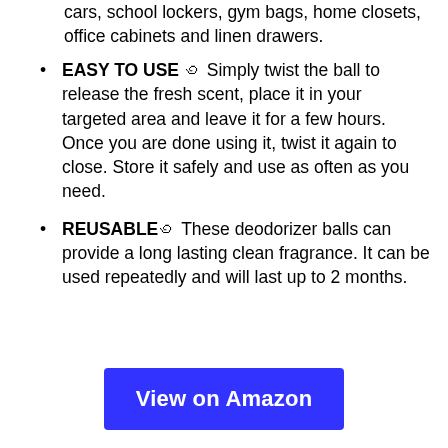cars, school lockers, gym bags, home closets, office cabinets and linen drawers.
EASY TO USE ⬤ Simply twist the ball to release the fresh scent, place it in your targeted area and leave it for a few hours. Once you are done using it, twist it again to close. Store it safely and use as often as you need.
REUSABLE⬤ These deodorizer balls can provide a long lasting clean fragrance. It can be used repeatedly and will last up to 2 months.
View on Amazon